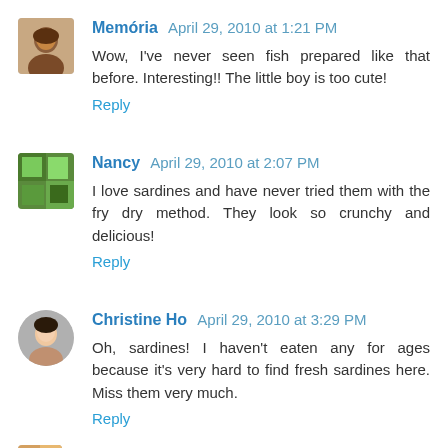Memória April 29, 2010 at 1:21 PM
Wow, I've never seen fish prepared like that before. Interesting!! The little boy is too cute!
Reply
Nancy April 29, 2010 at 2:07 PM
I love sardines and have never tried them with the fry dry method. They look so crunchy and delicious!
Reply
Christine Ho April 29, 2010 at 3:29 PM
Oh, sardines! I haven't eaten any for ages because it's very hard to find fresh sardines here. Miss them very much.
Reply
My Little Space April 29, 2010 at 4:21 PM